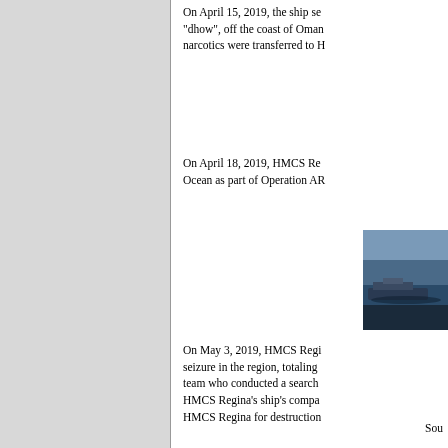On April 15, 2019, the ship se... "dhow", off the coast of Oman... narcotics were transferred to H...
On April 18, 2019, HMCS Re... Ocean as part of Operation AR...
[Figure (photo): Photograph showing a naval vessel or small boat at sea, partially cropped at right edge of page]
On May 3, 2019, HMCS Regi... seizure in the region, totaling ... team who conducted a search ... HMCS Regina's ship's compa... HMCS Regina for destruction...
Sou...